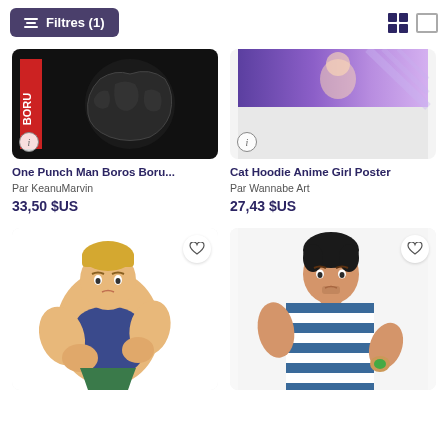Filtres (1)
[Figure (screenshot): E-commerce product listing page showing anime art posters with filter button, grid/list view toggle, and four product cards with images, titles, authors, and prices.]
One Punch Man Boros Boru...
Par KeanuMarvin
33,50 $US
Cat Hoodie Anime Girl Poster
Par Wannabe Art
27,43 $US